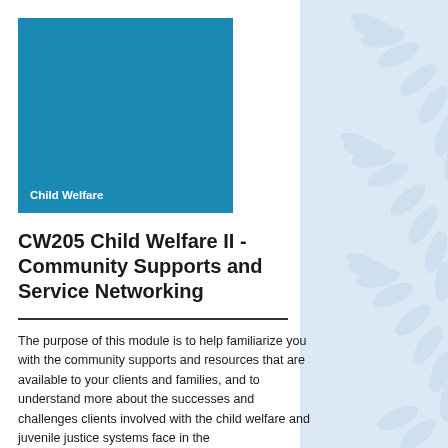[Figure (other): Blue square block with 'Child Welfare' label text at bottom left in white bold text]
CW205 Child Welfare II - Community Supports and Service Networking
The purpose of this module is to help familiarize you with the community supports and resources that are available to your clients and families, and to understand more about the successes and challenges clients involved with the child welfare and juvenile justice systems face in the